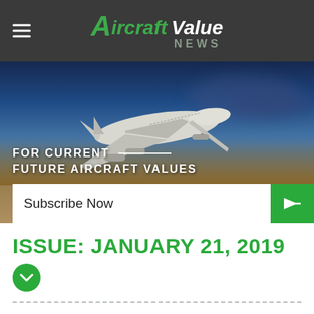Aircraft Value NEWS
[Figure (photo): Aircraft flying in sky with subscribe bar overlay. Text reads: FOR CURRENT & — FUTURE AIRCRAFT VALUES. Subscribe Now button.]
ISSUE: JANUARY 21, 2019